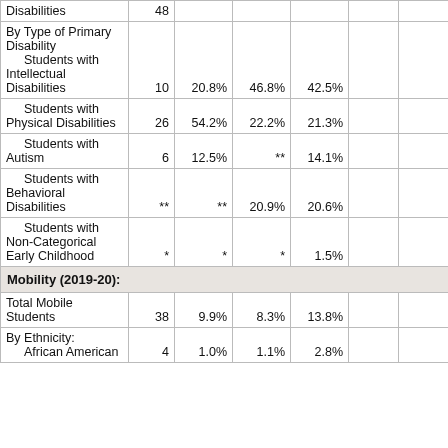|  |  |  |  |  |  |  |
| --- | --- | --- | --- | --- | --- | --- |
| Disabilities | 48 |  |  |  |  |  |
| By Type of Primary Disability
  Students with Intellectual Disabilities | 10 | 20.8% | 46.8% | 42.5% |  |  |
|   Students with Physical Disabilities | 26 | 54.2% | 22.2% | 21.3% |  |  |
|   Students with Autism | 6 | 12.5% | ** | 14.1% |  |  |
|   Students with Behavioral Disabilities | ** | ** | 20.9% | 20.6% |  |  |
|   Students with Non-Categorical Early Childhood | * | * | * | 1.5% |  |  |
| Mobility (2019-20): |  |  |  |  |  |  |
| Total Mobile Students | 38 | 9.9% | 8.3% | 13.8% |  |  |
| By Ethnicity:
  African American | 4 | 1.0% | 1.1% | 2.8% |  |  |